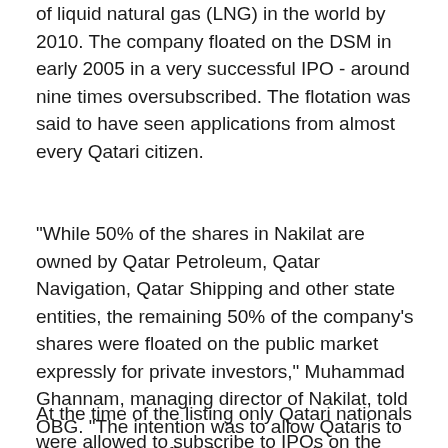of liquid natural gas (LNG) in the world by 2010. The company floated on the DSM in early 2005 in a very successful IPO - around nine times oversubscribed. The flotation was said to have seen applications from almost every Qatari citizen.
"While 50% of the shares in Nakilat are owned by Qatar Petroleum, Qatar Navigation, Qatar Shipping and other state entities, the remaining 50% of the company's shares were floated on the public market expressly for private investors," Muhammad Ghannam, managing director of Nakilat, told OBG. "The intention was to allow Qataris to share in the profits of the country's resources and to feed the wealth of the energy sector back into the general population."
At the time of the listing only Qatari nationals were allowed to subscribe to IPOs on the DSM. The primary market has since